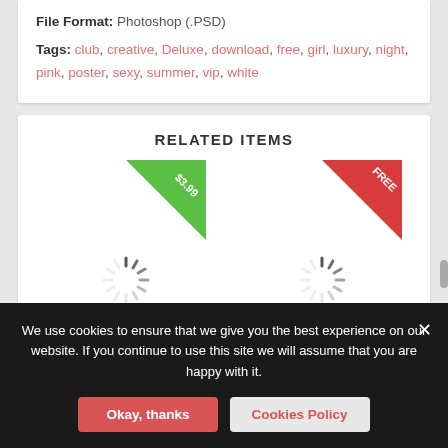File Format: Photoshop (.PSD)
Tags: club, creative, Deluxe, download, free, girl, luxury, night, pink, poster, sexy, summer, vip, white
RELATED ITEMS
[Figure (illustration): Green corner ribbon badge with '$3.99' text]
[Figure (illustration): Loading spinner icon]
[Figure (illustration): Red corner ribbon badge with 'FREE' text]
[Figure (illustration): Loading spinner icon]
We use cookies to ensure that we give you the best experience on our website. If you continue to use this site we will assume that you are happy with it.
Okay, thanks
Cookies Policy